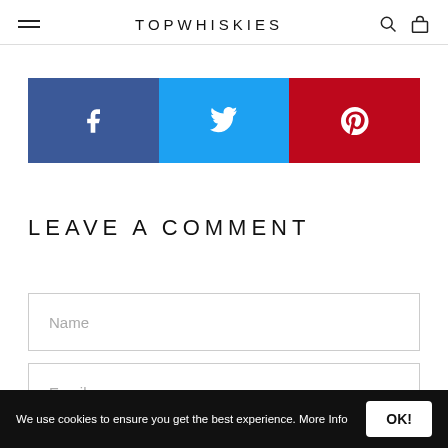TOPWHISKIES
[Figure (infographic): Social share bar with three buttons: Facebook (blue), Twitter (light blue), Pinterest (red), each with their respective white icons.]
LEAVE A COMMENT
Name
Email
We use cookies to ensure you get the best experience. More Info  OK!